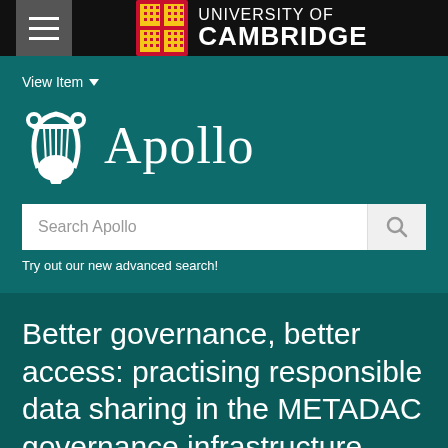University of Cambridge
View Item
[Figure (logo): Apollo repository logo — lyre icon with text 'Apollo' in serif font]
Search Apollo — Try out our new advanced search!
Better governance, better access: practising responsible data sharing in the METADAC governance infrastructure